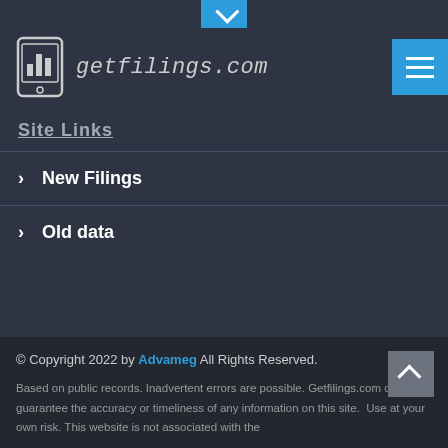getfilings.com
Site Links
> New Filings
> Old data
© Copyright 2022 by Advameg All Rights Reserved. Based on public records. Inadvertent errors are possible. Getfilings.com does not guarantee the accuracy or timeliness of any information on this site. Use at your own risk. This website is not associated with the